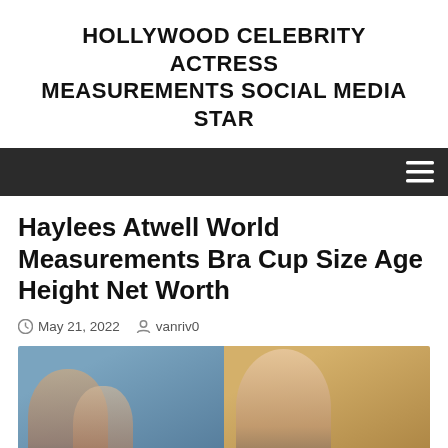HOLLYWOOD CELEBRITY ACTRESS MEASUREMENTS SOCIAL MEDIA STAR
Haylees Atwell World Measurements Bra Cup Size Age Height Net Worth
May 21, 2022  vanriv0
[Figure (photo): Photo of Hayley Atwell at an event, showing two images side by side — left image with a blue backdrop and right image with a golden backdrop]